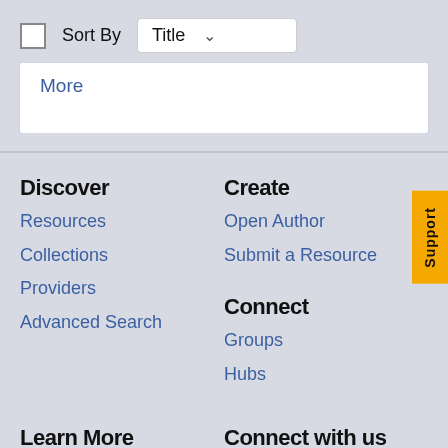Sort By Title
More
Discover
Resources
Collections
Providers
Advanced Search
Create
Open Author
Submit a Resource
Connect
Groups
Hubs
Learn More
Connect with us
About OpenEd CUNY
@cuny_oer